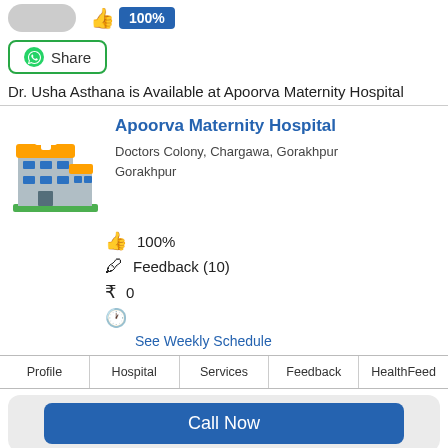[Figure (screenshot): Doctor profile photo placeholder (grey pill shape) and thumbs up icon with 100% rating badge in blue]
Share (WhatsApp share button)
Dr. Usha Asthana is Available at Apoorva Maternity Hospital
[Figure (illustration): Hospital building illustration with orange roof, blue windows, and green ground]
Apoorva Maternity Hospital
Doctors Colony, Chargawa, Gorakhpur
Gorakhpur
100%
Feedback (10)
0
See Weekly Schedule
Profile | Hospital | Services | Feedback | HealthFeed
Call Now